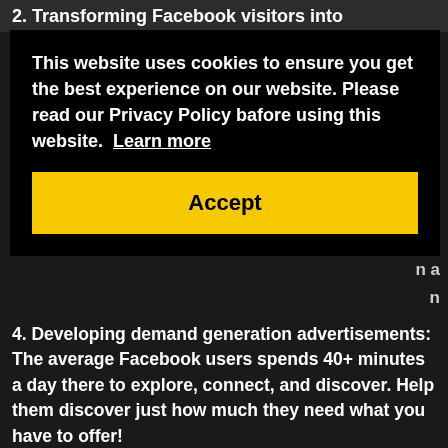2. Transforming Facebook visitors into customers: turn your [page into] [a tool for your business] and [create] funnels.
[Figure (screenshot): Cookie consent overlay popup with black background. Text reads: 'This website uses cookies to ensure you get the best experience on our website. Please read our Privacy Policy bafore using this website. Learn more'. Below is a yellow Accept button. Partially visible background text includes fragments about Facebook advertising topics.]
4. Developing demand generation advertisements: The average Facebook users spends 40+ minutes a day there to explore, connect, and discover. Help them discover just how much they need what you have to offer!
5. Testing your content before you spend money to maximize engagement: Another reason to advertise on Facebook is that it lets you get the most bang for your buck. How? You can test how engaging your content is by posting it on your page for